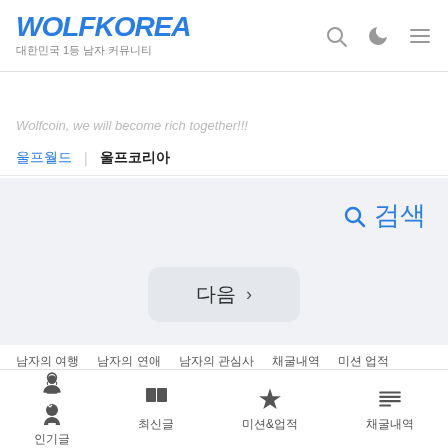WOLFKOREA 대한민국 1등 남자 커뮤니티
Wolfcoin, we will become rich together!!!
울프월드 | 울프코리아
🔍 검색
다음 >
남자의 여행  남자의 연애  남자의 관심사  채굴내역  미션 업적
다크모드 전환
Copyright 2020-2022. WOLFKOREA. All rights reserved.
인기글  최신글  미션&업적  채굴내역